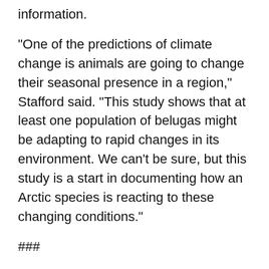information.
"One of the predictions of climate change is animals are going to change their seasonal presence in a region," Stafford said. "This study shows that at least one population of belugas might be adapting to rapid changes in its environment. We can't be sure, but this study is a start in documenting how an Arctic species is reacting to these changing conditions."
###
Other co-authors are Kristin Laidre and Harry Stern of the UW; Robert Suydam of North Slope Borough in Utqia?vik, Alaska; and Pierre Richard of Fisheries and Oceans Canada.
This analysis was funded by the National Science Foundation's UW IGERT Program on Ocean Change, NASA